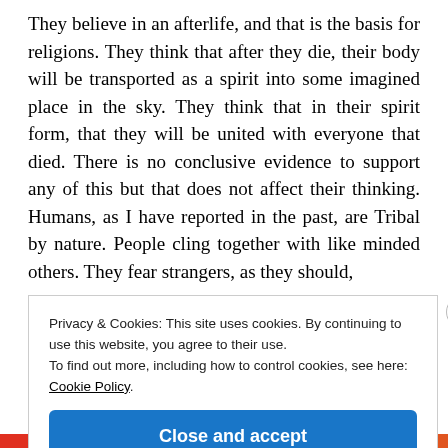They believe in an afterlife, and that is the basis for religions. They think that after they die, their body will be transported as a spirit into some imagined place in the sky. They think that in their spirit form, that they will be united with everyone that died. There is no conclusive evidence to support any of this but that does not affect their thinking. Humans, as I have reported in the past, are Tribal by nature. People cling together with like minded others. They fear strangers, as they should,
Privacy & Cookies: This site uses cookies. By continuing to use this website, you agree to their use.
To find out more, including how to control cookies, see here: Cookie Policy
Close and accept